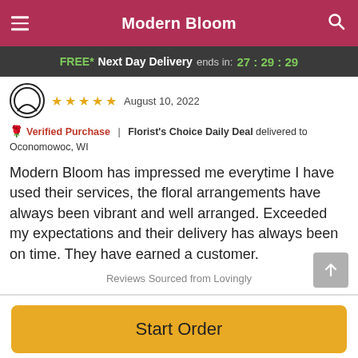Modern Bloom
FREE* Next Day Delivery ends in: 27:29:29
★★★★★ August 10, 2022
🌹 Verified Purchase | Florist's Choice Daily Deal delivered to Oconomowoc, WI
Modern Bloom has impressed me everytime I have used their services, the floral arrangements have always been vibrant and well arranged. Exceeded my expectations and their delivery has always been on time. They have earned a customer.
Reviews Sourced from Lovingly
Start Order